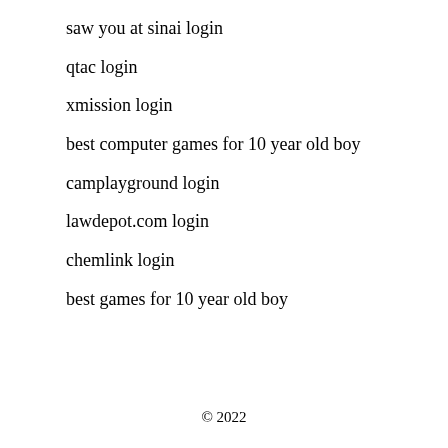saw you at sinai login
qtac login
xmission login
best computer games for 10 year old boy
camplayground login
lawdepot.com login
chemlink login
best games for 10 year old boy
© 2022